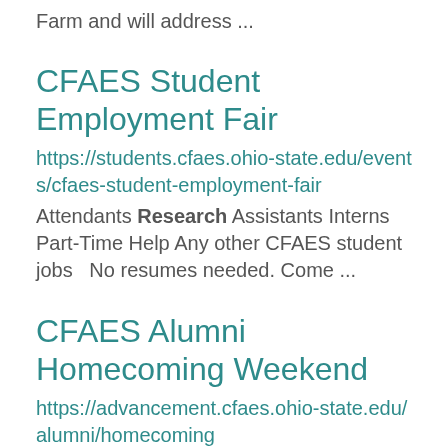Farm and will address ...
CFAES Student Employment Fair
https://students.cfaes.ohio-state.edu/events/cfaes-student-employment-fair
Attendants Research Assistants Interns Part-Time Help Any other CFAES student jobs   No resumes needed. Come ...
CFAES Alumni Homecoming Weekend
https://advancement.cfaes.ohio-state.edu/alumni/homecoming
Research Complex (CEARC) and Waterman Agricultural and Natural Resource...